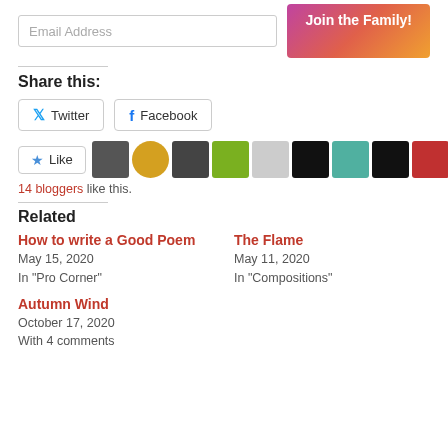[Figure (screenshot): Email address input field and 'Join the Family!' gradient button]
Share this:
[Figure (screenshot): Twitter and Facebook share buttons]
[Figure (screenshot): Like button with star icon and row of blogger avatar thumbnails. 14 bloggers like this.]
14 bloggers like this.
Related
How to write a Good Poem
May 15, 2020
In "Pro Corner"
The Flame
May 11, 2020
In "Compositions"
Autumn Wind
October 17, 2020
With 4 comments